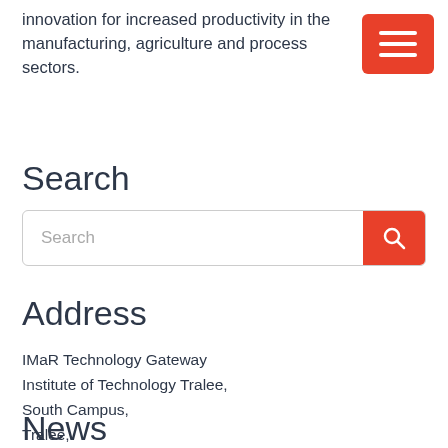innovation for increased productivity in the manufacturing, agriculture and process sectors.
Search
Search (search input box)
Address
IMaR Technology Gateway
Institute of Technology Tralee,
South Campus,
Tralee,
Co. Kerry.
Ireland
☎ +353 (0)66 7144216
✉ imar@ittralee.ie
News